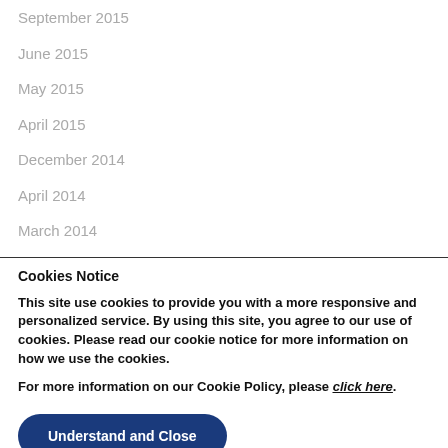September 2015
June 2015
May 2015
April 2015
December 2014
April 2014
March 2014
Cookies Notice
This site use cookies to provide you with a more responsive and personalized service. By using this site, you agree to our use of cookies. Please read our cookie notice for more information on how we use the cookies.
For more information on our Cookie Policy, please click here.